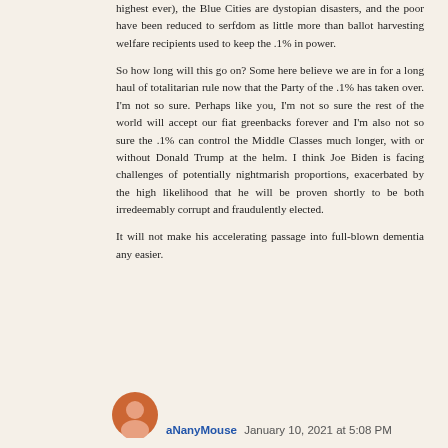highest ever), the Blue Cities are dystopian disasters, and the poor have been reduced to serfdom as little more than ballot harvesting welfare recipients used to keep the .1% in power.
So how long will this go on? Some here believe we are in for a long haul of totalitarian rule now that the Party of the .1% has taken over. I'm not so sure. Perhaps like you, I'm not so sure the rest of the world will accept our fiat greenbacks forever and I'm also not so sure the .1% can control the Middle Classes much longer, with or without Donald Trump at the helm. I think Joe Biden is facing challenges of potentially nightmarish proportions, exacerbated by the high likelihood that he will be proven shortly to be both irredeemably corrupt and fraudulently elected.
It will not make his accelerating passage into full-blown dementia any easier.
aNanyMouse January 10, 2021 at 5:08 PM